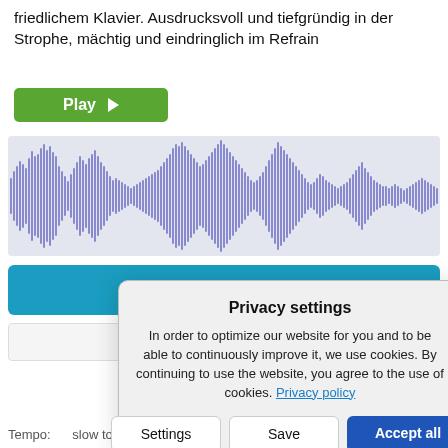friedlichem Klavier. Ausdrucksvoll und tiefgründig in der Strophe, mächtig und eindringlich im Refrain
[Figure (other): Green Play button with right-pointing triangle arrow]
[Figure (continuous-plot): Audio waveform visualization showing sound amplitude over time, with purple/blue waveform on light gray background]
[Figure (other): Blue 'Add to Cart' button with shopping cart icon]
[Figure (screenshot): Privacy settings modal dialog with title 'Privacy settings', body text about cookies and privacy policy link, and three buttons: Settings, Save, Accept all]
Tempo:    slow to moderate